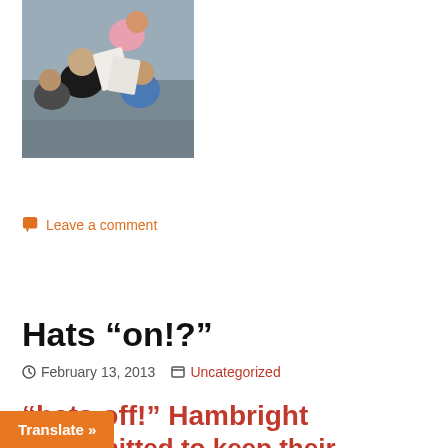[Figure (photo): Children sitting in a group, looking at papers, from above/side angle. School setting.]
Leave a comment
Hats “on!?”
February 13, 2013   Uncategorized
“hats off!” Hambright … permitted to keep their
Translate »